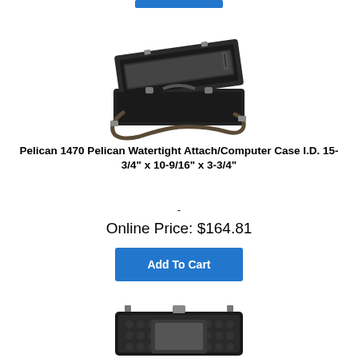[Figure (photo): Blue Add To Cart button (cropped at top)]
[Figure (photo): Pelican 1470 black watertight attache/computer case shown open with shoulder strap]
Pelican 1470 Pelican Watertight Attach/Computer Case I.D. 15-3/4" x 10-9/16" x 3-3/4"
-
Online Price: $164.81
[Figure (photo): Add To Cart blue button]
[Figure (photo): Pelican hard case with foam interior shown open, partially visible at bottom of page]